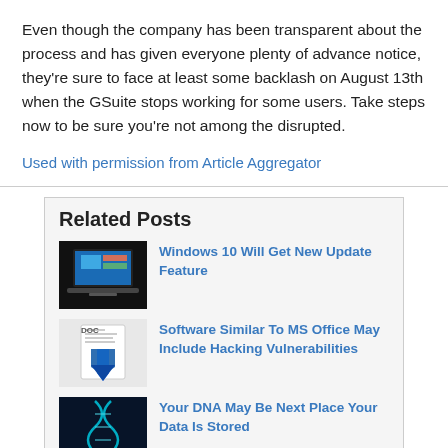Even though the company has been transparent about the process and has given everyone plenty of advance notice, they're sure to face at least some backlash on August 13th when the GSuite stops working for some users. Take steps now to be sure you're not among the disrupted.
Used with permission from Article Aggregator
Related Posts
Windows 10 Will Get New Update Feature
Software Similar To MS Office May Include Hacking Vulnerabilities
Your DNA May Be Next Place Your Data Is Stored